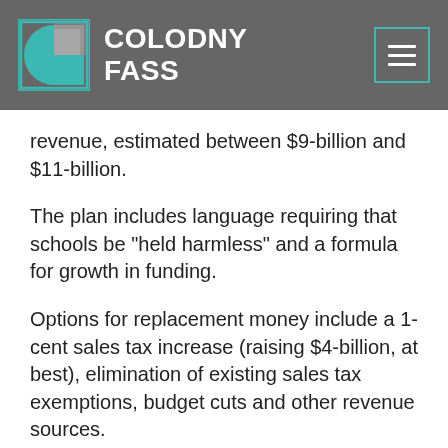COLODNY FASS
revenue, estimated between $9-billion and $11-billion.
The plan includes language requiring that schools be "held harmless" and a formula for growth in funding.
Options for replacement money include a 1-cent sales tax increase (raising $4-billion, at best), elimination of existing sales tax exemptions, budget cuts and other revenue sources.
There is some disagreement whether "other"